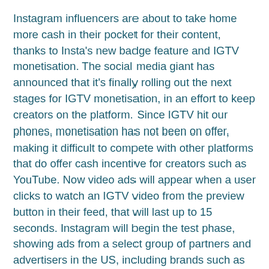Instagram influencers are about to take home more cash in their pocket for their content, thanks to Insta's new badge feature and IGTV monetisation. The social media giant has announced that it's finally rolling out the next stages for IGTV monetisation, in an effort to keep creators on the platform. Since IGTV hit our phones, monetisation has not been on offer, making it difficult to compete with other platforms that do offer cash incentive for creators such as YouTube. Now video ads will appear when a user clicks to watch an IGTV video from the preview button in their feed, that will last up to 15 seconds. Instagram will begin the test phase, showing ads from a select group of partners and advertisers in the US, including brands such as IKEA, Puma and Sephora.